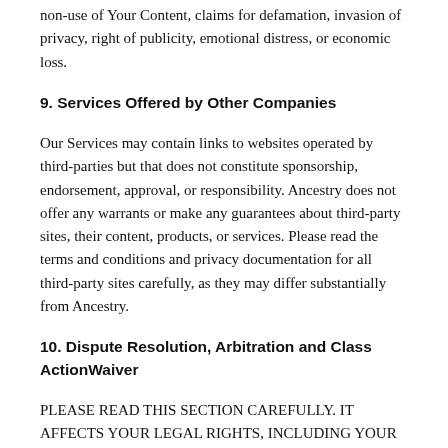non-use of Your Content, claims for defamation, invasion of privacy, right of publicity, emotional distress, or economic loss.
9. Services Offered by Other Companies
Our Services may contain links to websites operated by third-parties but that does not constitute sponsorship, endorsement, approval, or responsibility. Ancestry does not offer any warrants or make any guarantees about third-party sites, their content, products, or services. Please read the terms and conditions and privacy documentation for all third-party sites carefully, as they may differ substantially from Ancestry.
10. Dispute Resolution, Arbitration and Class ActionWaiver
PLEASE READ THIS SECTION CAREFULLY. IT AFFECTS YOUR LEGAL RIGHTS, INCLUDING YOUR RIGHT TO FILE A LAWSUIT IN COURT.
We work hard to keep our customers satisfied. If a dispute